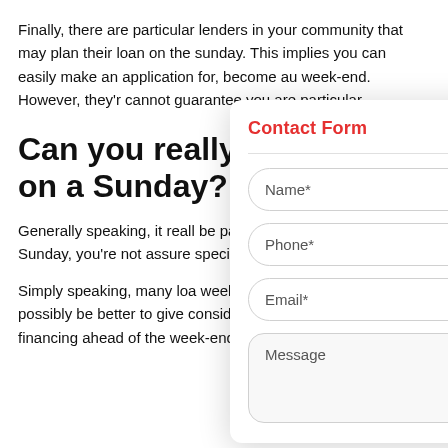Finally, there are particular lenders in your community that may plan their loan on the sunday. This implies you can easily make an application for, become au week-end. However, they'r cannot guarantee you are particular.
Can you really on a Sunday?
Generally speaking, it reall be particular loan provider Sunday, you're not assure specific credit services.
Simply speaking, many loa week-end. Consequently, it may possibly be better to give consideration to trying to get financing ahead of the week-end
[Figure (other): Contact Form overlay with fields for Name*, Phone*, Email*, and Message]